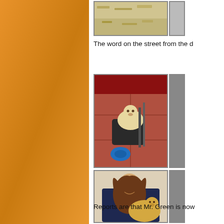[Figure (photo): Photo of grass/ground texture, partially cropped, shown at top of content area]
[Figure (photo): Partial photo of unknown content at top right, cropped off page]
The word on the street from the d
[Figure (photo): Photo of a light-colored puppy sitting on a black bag on a tiled floor with a blue disc nearby]
[Figure (photo): Partial photo at mid right, cropped off page]
[Figure (photo): Photo of a smiling woman with brown hair holding a golden retriever puppy]
[Figure (photo): Partial photo at bottom right, cropped off page]
Reports are that Mr. Green is now